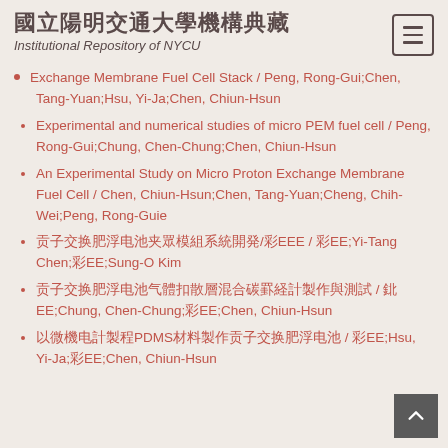國立陽明交通大學機構典藏 Institutional Repository of NYCU
Exchange Membrane Fuel Cell Stack / Peng, Rong-Gui;Chen, Tang-Yuan;Hsu, Yi-Ja;Chen, Chiun-Hsun
Experimental and numerical studies of micro PEM fuel cell / Peng, Rong-Gui;Chung, Chen-Chung;Chen, Chiun-Hsun
An Experimental Study on Micro Proton Exchange Membrane Fuel Cell / Chen, Chiun-Hsun;Chen, Tang-Yuan;Cheng, Chih-Wei;Peng, Rong-Guie
質子交換膜燃料電池堆疊模組系統開發/彭榮貴 / 陳唐源;Yi-Tang Chen;陳俊勳;Sung-O Kim
質子交換膜燃料電池氣體擴散層混合碳纖維紙製作與測試 / 鄭志偉;Chung, Chen-Chung;陳唐源;Chen, Chiun-Hsun
以微機電製程PDMS材料製作質子交換膜燃料電池 / 徐郁茄;Hsu, Yi-Ja;陳俊勳;Chen, Chiun-Hsun